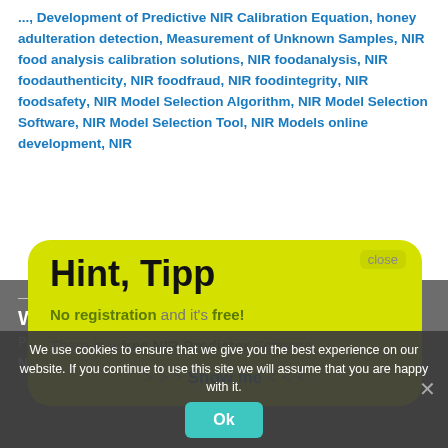..., Development of Predictive NIR Calibration Equation, honey adulteration detection, Measurement of Unknown Samples, NIR food analysis calibration solutions, NIR foodanalysis, NIR foodauthenticity, NIR foodfraud, NIR foodintegrity, NIR foodsafety, NIR Model Selection Algorithm, NIR Model Selection Software, NIR Model Selection Tool, NIR Models online development, NIR...
[Figure (screenshot): Yellow popup dialog with title 'Hint, Tipp', close button, text 'No registration and it's free!', 'There is a free NIR-Predictor Software.', and '> > > Show me < < <' link]
We use cookies to ensure that we give you the best experience on our website. If you continue to use this site we will assume that you are happy with it.
Weekly #33, 2020
Posted on August 17, 202...
NIR Calibration-Model Services